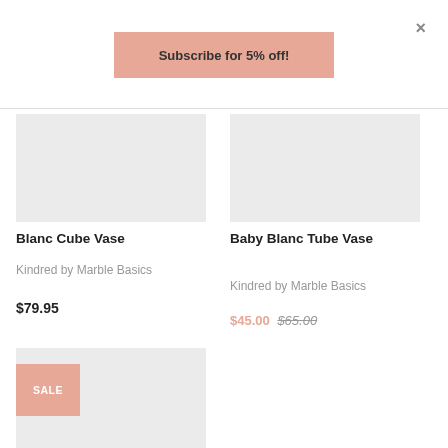×
Subscribe for 5% off!
[Figure (photo): Product image placeholder for Blanc Cube Vase (grey rectangle)]
Blanc Cube Vase
Kindred by Marble Basics
$79.95
[Figure (photo): Product image placeholder for Baby Blanc Tube Vase (grey rectangle)]
Baby Blanc Tube Vase
Kindred by Marble Basics
$45.00 $65.00
[Figure (photo): Product image placeholder with SALE badge (grey rectangle with salmon SALE badge)]